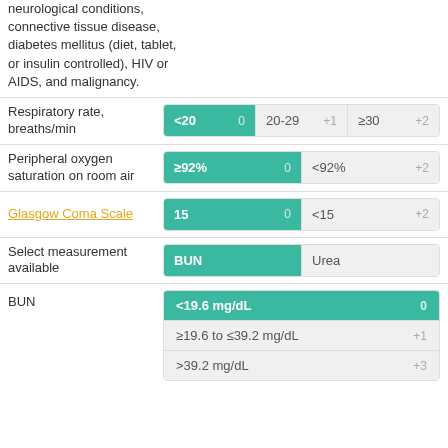neurological conditions, connective tissue disease, diabetes mellitus (diet, tablet, or insulin controlled), HIV or AIDS, and malignancy.
| Parameter | Option 1 | Option 2 | Option 3 |
| --- | --- | --- | --- |
| Respiratory rate, breaths/min | <20  0 | 20-29  +1 | ≥30  +2 |
| Peripheral oxygen saturation on room air | ≥92%  0 | <92%  +2 |  |
| Glasgow Coma Scale | 15  0 | <15  +2 |  |
| Select measurement available | BUN | Urea |  |
| BUN | <19.6 mg/dL  0 | ≥19.6 to ≤39.2 mg/dL  +1 | >39.2 mg/dL  +3 |